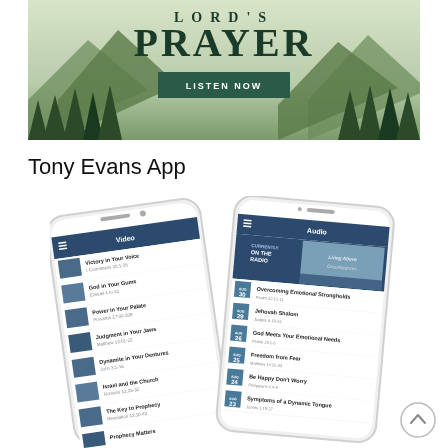[Figure (illustration): Banner advertisement for 'Lord's Prayer' audio series with mountain/forest background, large serif text reading 'LORD'S PRAYER' and a green 'LISTEN NOW' button]
Tony Evans App
[Figure (screenshot): Two smartphone screenshots of the Tony Evans App showing Video and Audio sections with sermon listings including titles like 'Victory in Your Voice', 'God in Your Gums', 'Power in Your Palate', 'Judgment in Your Jaws', 'Dynamite in Your Dentures', 'Israel and the Church', 'The Key to Prophecy', and audio listings with dates like Aug 30 'Overcoming Emotional Strongholds', Aug 29 'Jehovah Shalom', Aug 26 'God Meets Your Emotional Needs', Aug 25 'Freedom from Fear', Aug 24 'Be Happy Don't Worry', Aug 23 'Symptoms of a Dynamic Tongue'. Currently On The Radio: Living Above Circumstances.]